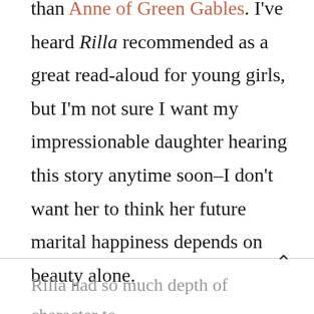than Anne of Green Gables. I've heard Rilla recommended as a great read-aloud for young girls, but I'm not sure I want my impressionable daughter hearing this story anytime soon–I don't want her to think her future marital happiness depends on beauty alone.
Rilla had so much depth of character to